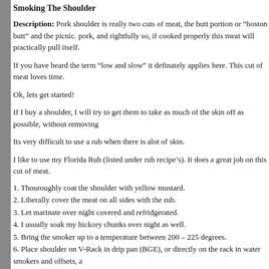Smoking The Shoulder
Description: Pork shoulder is really two cuts of meat, the butt portion or “boston butt” and the picnic. pork, and rightfully so, if cooked properly this meat will practically pull itself.
If you have heard the term “low and slow” it definately applies here. This cut of meat loves time.
Ok, lets get started!
If I buy a shoulder, I will try to get them to take as much of the skin off as possible, without removing
Its very difficult to use a rub when there is alot of skin.
I like to use my Florida Rub (listed under rub recipe’s). It does a great job on this cut of meat.
1. Thouroughly coat the shoulder with yellow mustard.
2. Liberally cover the meat on all sides with the rub.
3. Let marinate over night covered and refridgerated.
4. I usually soak my hickory chunks over night as well.
5. Bring the smoker up to a temperature between 200 – 225 degrees.
6. Place shoulder on V-Rack in drip pan (BGE), or directly on the rack in water smokers and offsets, add your wood chunks to the fire).
7. Smoke the shoulder for about 75 to 90 minutes per pound, depending on what temperature you are of the piece of meat
8. About half way through the cook, remove the shoulder from the smoker and wrap in heavy aluminu
9. Either place it back into the smoker, or in the oven at 225 degrees.
10. Let cook wrapped until the internal temp reaches 194 to 200.